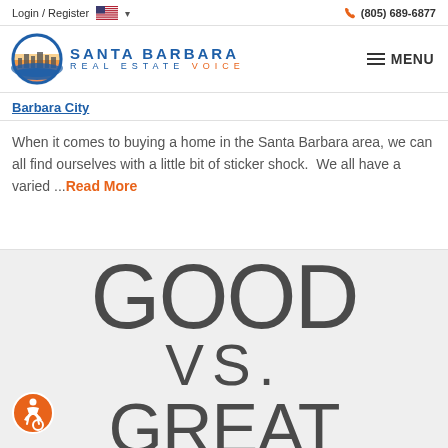Login / Register  🇺🇸 ▾    📞 (805) 689-6877
[Figure (logo): Santa Barbara Real Estate Voice logo with circular city skyline icon and text 'SANTA BARBARA REAL ESTATE VOICE' and MENU hamburger button]
Barbara City
When it comes to buying a home in the Santa Barbara area, we can all find ourselves with a little bit of sticker shock.  We all have a varied ...Read More
[Figure (illustration): Large text graphic on light gray background showing the words 'GOOD VS. GREAT' in large thin gray letters, partially cropped at bottom]